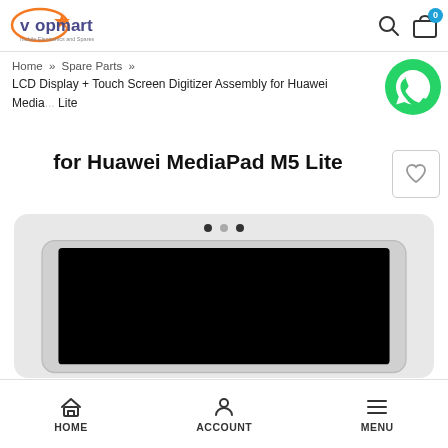[Figure (logo): Vopmart logo with orange star and text vopmart in blue/gray, tagline below]
Home » Spare Parts »
LCD Display + Touch Screen Digitizer Assembly for Huawei MediaPad M5 Lite
[Figure (illustration): WhatsApp green circle icon with phone handset]
for Huawei MediaPad M5 Lite
[Figure (photo): Product image of LCD Display touch screen digitizer assembly for Huawei MediaPad M5 Lite showing tablet mockup with black screen on light gray background, with slider dots at top]
HOME   ACCOUNT   MENU